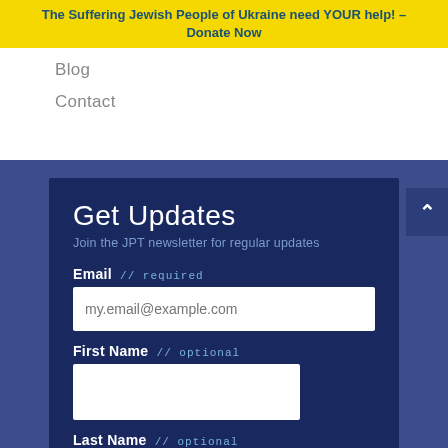The Suffering Jewish People of Ukraine need YOUR help! – Donate Now
Blog
Contact
Get Updates
Join the JPT newsletter for regular updates
Email // required
my.email@example.com
First Name // optional
Last Name // optional